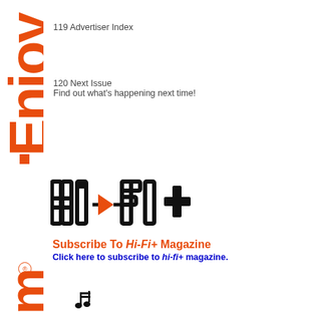Enjoy
119 Advertiser Index
120 Next Issue
Find out what's happening next time!
[Figure (logo): hi-fi+ magazine logo in bold outlined block letters with a play-button arrow between hi and fi]
Subscribe To Hi-Fi+ Magazine
Click here to subscribe to hi-fi+ magazine.
com
[Figure (illustration): Musical notes icon at bottom of page]